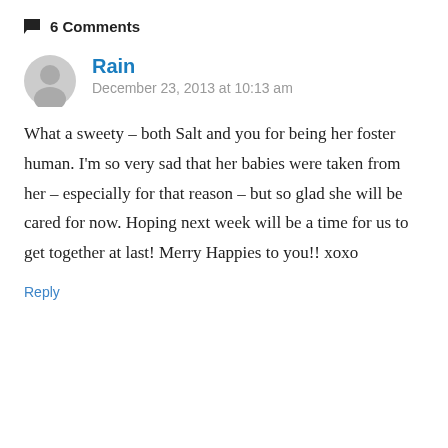6 Comments
Rain
December 23, 2013 at 10:13 am
What a sweety – both Salt and you for being her foster human. I'm so very sad that her babies were taken from her – especially for that reason – but so glad she will be cared for now. Hoping next week will be a time for us to get together at last! Merry Happies to you!! xoxo
Reply